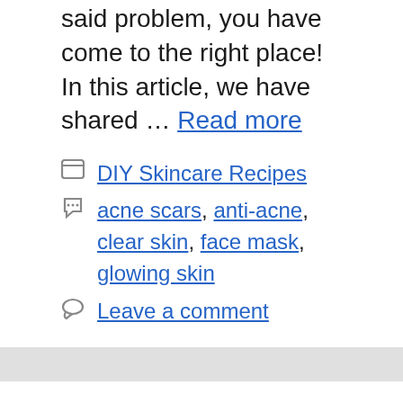said problem, you have come to the right place! In this article, we have shared … Read more
DIY Skincare Recipes
acne scars, anti-acne, clear skin, face mask, glowing skin
Leave a comment
5 DIY Turmeric Face Mask For Beautiful Ski…